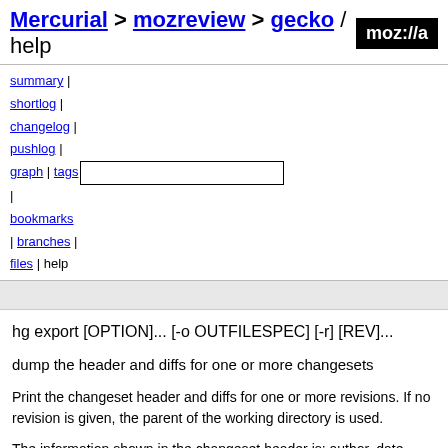Mercurial > mozreview > gecko / help  moz://a
summary | shortlog | changelog | pushlog | graph | tags | [search box] | bookmarks | branches | files | help
hg export [OPTION]... [-o OUTFILESPEC] [-r] [REV]...
dump the header and diffs for one or more changesets
Print the changeset header and diffs for one or more revisions. If no revision is given, the parent of the working directory is used.
The information shown in the changeset header is: author, date, branch name (if non-default), changeset hash, parent(s) and commit comment.
Note:
'hg export' may generate unexpected diff output for merge changesets, as it will compare the merge changeset against its first parent only.
Output may be to a file, in which case the name of the file is given using a